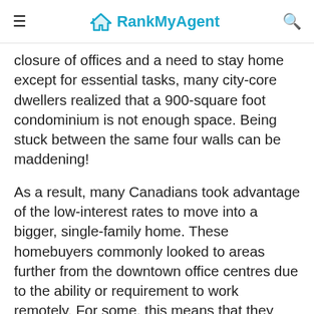RankMyAgent
closure of offices and a need to stay home except for essential tasks, many city-core dwellers realized that a 900-square foot condominium is not enough space. Being stuck between the same four walls can be maddening!
As a result, many Canadians took advantage of the low-interest rates to move into a bigger, single-family home. These homebuyers commonly looked to areas further from the downtown office centres due to the ability or requirement to work remotely. For some, this means that they can move to the cottage country and only have to commute to their kitchen table or home office to start their workday.